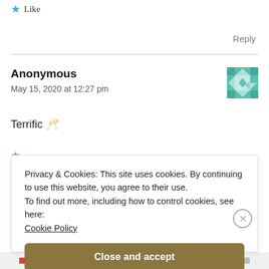Like
Reply
Anonymous
May 15, 2020 at 12:27 pm
[Figure (other): User avatar: teal geometric pattern square icon]
Terrific 🥂
Privacy & Cookies: This site uses cookies. By continuing to use this website, you agree to their use.
To find out more, including how to control cookies, see here:
Cookie Policy
Close and accept